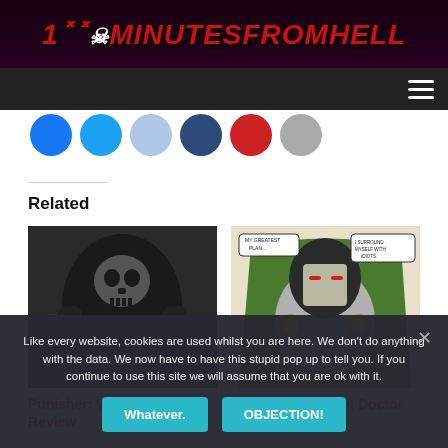10MinutesFromHell
[Figure (screenshot): Social media share buttons row: Facebook, Twitter, LinkedIn, Pinterest, YouTube/Reddit, Email]
Related
[Figure (photo): Punisher armor chest piece in dark monochrome photo]
Punisher: War Zone DVD Review
[Figure (illustration): Doctor Doom comic illustration in green armor with speech bubbles]
Why can't FOX get Doctor Doom right?
Like every website, cookies are used whilst you are here. We don't do anything with the data. We now have to have this stupid pop up to tell you. If you continue to use this site we will assume that you are ok with it.